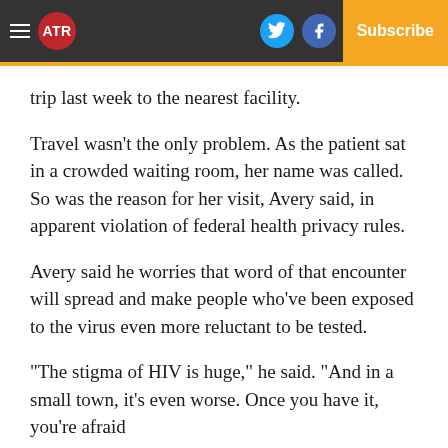ATR | Log In | Subscribe
trip last week to the nearest facility.
Travel wasn't the only problem. As the patient sat in a crowded waiting room, her name was called. So was the reason for her visit, Avery said, in apparent violation of federal health privacy rules.
Avery said he worries that word of that encounter will spread and make people who've been exposed to the virus even more reluctant to be tested.
“The stigma of HIV is huge,” he said. “And in a small town, it’s even worse. Once you have it, you’re afraid